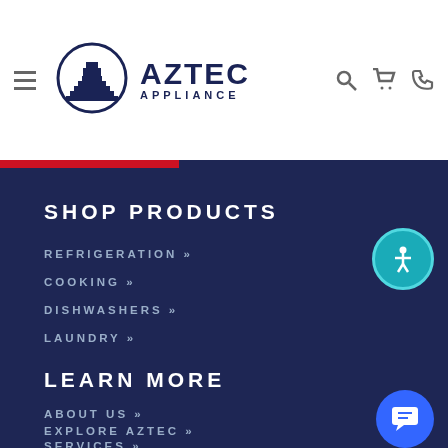Aztec Appliance
SHOP PRODUCTS
REFRIGERATION »
COOKING »
DISHWASHERS »
LAUNDRY »
LEARN MORE
ABOUT US »
EXPLORE AZTEC »
SERVICES »